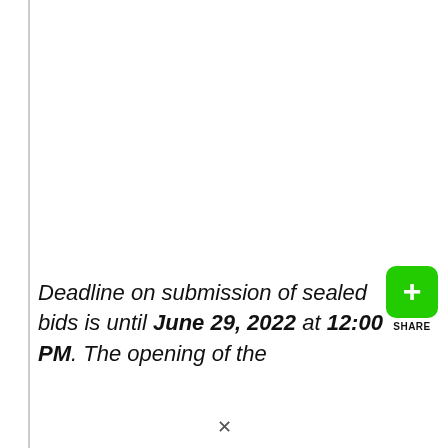Deadline on submission of sealed bids is until June 29, 2022 at 12:00 PM. The opening of the